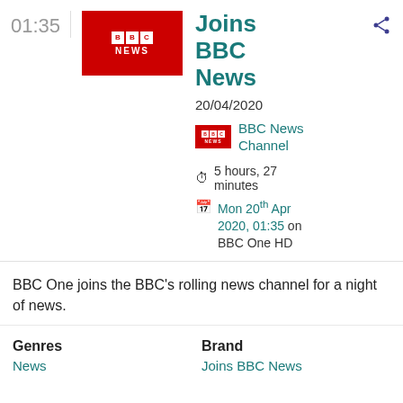01:35
[Figure (logo): BBC NEWS logo on red background]
Joins BBC News
20/04/2020
[Figure (logo): Small BBC NEWS channel logo]
BBC News Channel
5 hours, 27 minutes
Mon 20th Apr 2020, 01:35 on BBC One HD
BBC One joins the BBC's rolling news channel for a night of news.
Genres
News
Brand
Joins BBC News